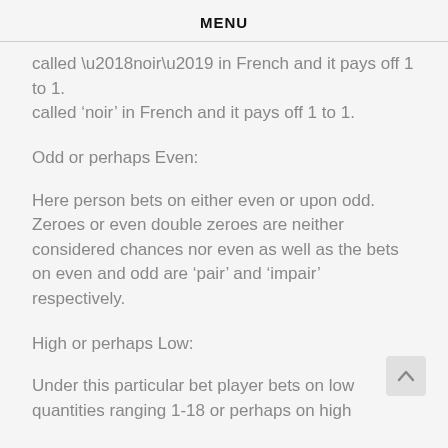MENU
called ‘noir’ in French and it pays off 1 to 1.
Odd or perhaps Even:
Here person bets on either even or upon odd. Zeroes or even double zeroes are neither considered chances nor even as well as the bets on even and odd are ‘pair’ and ‘impair’ respectively.
High or perhaps Low:
Under this particular bet player bets on low quantities ranging 1-18 or perhaps on high